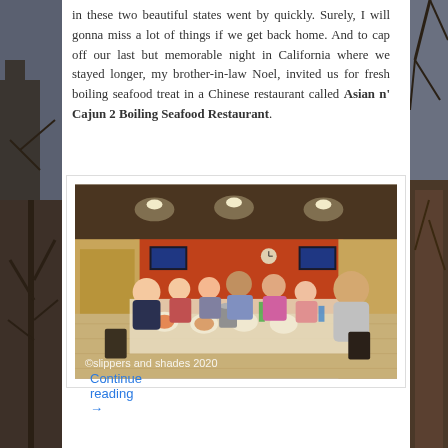in these two beautiful states went by quickly. Surely, I will gonna miss a lot of things if we get back home. And to cap off our last but memorable night in California where we stayed longer, my brother-in-law Noel, invited us for fresh boiling seafood treat in a Chinese restaurant called Asian n' Cajun 2 Boiling Seafood Restaurant.
[Figure (photo): Group of people dining at a long table in a Chinese-style restaurant with orange walls, wooden booths, and TVs mounted on walls. Watermark reads '©slippers and shades 2020'.]
Continue reading →